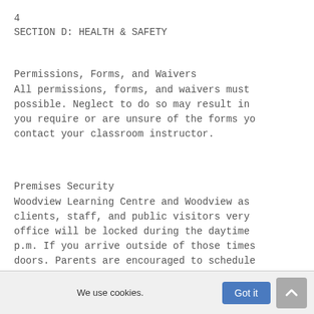4
SECTION D: HEALTH & SAFETY
Permissions, Forms, and Waivers
All permissions, forms, and waivers must possible. Neglect to do so may result in you require or are unsure of the forms yo contact your classroom instructor.
Premises Security
Woodview Learning Centre and Woodview as clients, staff, and public visitors very office will be locked during the daytime p.m. If you arrive outside of those times doors. Parents are encouraged to schedule classroom teachers or need to touch base